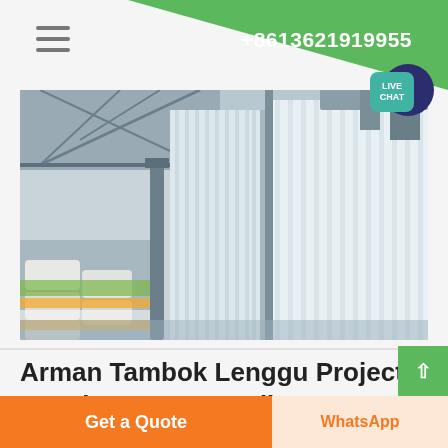+8613621919955
[Figure (photo): Warehouse interior showing corrugated metal partition walls/panels, metal roof trusses, and stacked bags/goods in the background]
Arman Tambok Lenggu Project Development Coordinator
Get a Quote
WhatsApp